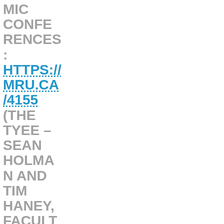MIC CONFERENCES: HTTPS://MRU.CA/4155 (THE TYEE – SEAN HOLMANN AND TIM HANEY, FACULTY)
CBC NEWS POLL: ALBERTANS WERE ALREADY ANXIOUS